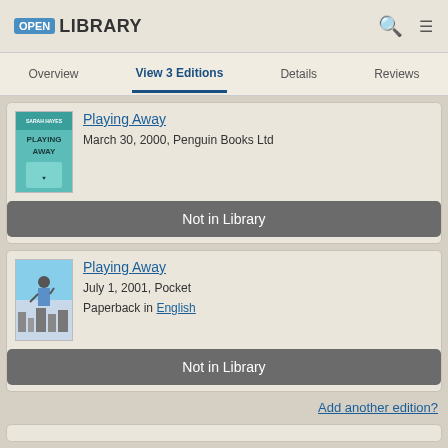Open Library
Overview | View 3 Editions | Details | Reviews
Playing Away
March 30, 2000, Penguin Books Ltd
Not in Library
Playing Away
July 1, 2001, Pocket
Paperback in English
Not in Library
Add another edition?